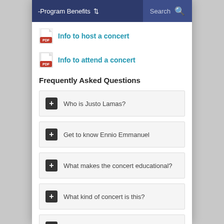-Program Benefits  Search
Info to host a concert
Info to attend a concert
Frequently Asked Questions
Who is Justo Lamas?
Get to know Ennio Emmanuel
What makes the concert educational?
What kind of concert is this?
Student Participation Opportunities